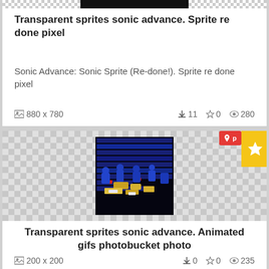[Figure (screenshot): Dark/black image strip at top of first card]
Transparent sprites sonic advance. Sprite re done pixel
Sonic Advance: Sonic Sprite (Re-done!). Sprite re done pixel
880 x 780   ↓11  ☆0  👁280
[Figure (screenshot): Sonic advance sprite sheet with blue/yellow pixel art characters on dark background with checkered transparency pattern]
Transparent sprites sonic advance. Animated gifs photobucket photo
Sonic advance sprites photo: Sonic the Hedgehog SA3 sonicp2_sprites.png. Animated gifs photobucket photo
200 x 200   ↓0  ☆0  👁235